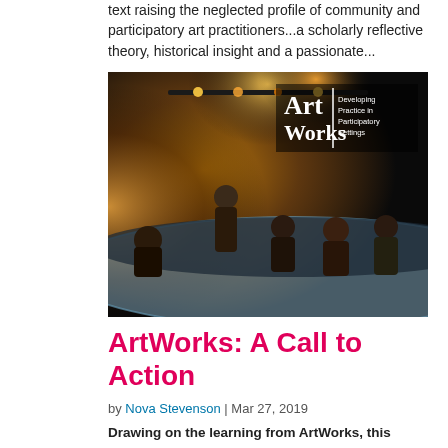text raising the neglected profile of community and participatory art practitioners...a scholarly reflective theory, historical insight and a passionate...
[Figure (photo): Theatre/performance scene with several people seated around a large round table on a dark stage. An ArtWorks logo overlay in the upper right reads: 'Art Works | Developing Practice in Participatory Settings'.]
ArtWorks: A Call to Action
by Nova Stevenson | Mar 27, 2019
Drawing on the learning from ArtWorks, this publication calls on the sector to build on our work and create better support for artists. It sets out